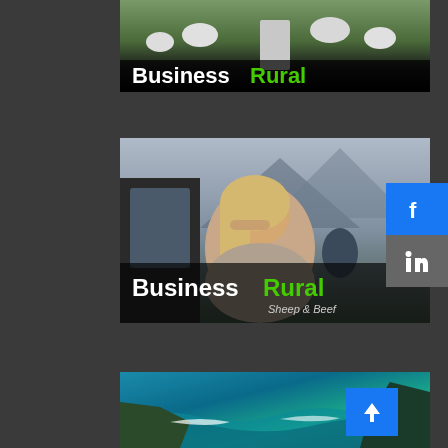[Figure (photo): BusinessRural magazine cover with sheep in background, white text 'Business' and green text 'Rural' logo overlay on dark bottom bar]
[Figure (photo): BusinessRural Sheep & Beef magazine cover with woman leaning out of car window in rural New Zealand setting, 'BusinessRural Sheep & Beef' logo overlay]
[Figure (photo): Aerial coastal New Zealand landscape with turquoise ocean, cliffs and greenery]
[Figure (logo): Facebook social share button - blue square with white 'f' icon]
[Figure (logo): LinkedIn social share button - grey square with white 'in' icon]
[Figure (logo): Scroll to top button - blue square with white upward arrow icon]